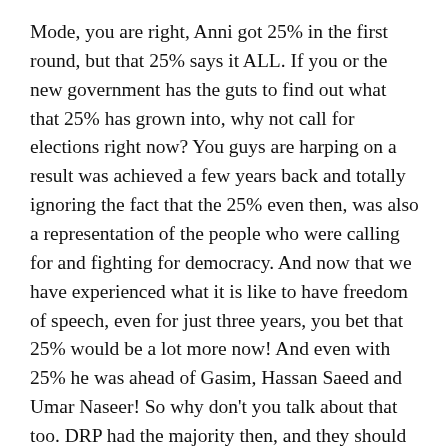Mode, you are right, Anni got 25% in the first round, but that 25% says it ALL. If you or the new government has the guts to find out what that 25% has grown into, why not call for elections right now? You guys are harping on a result was achieved a few years back and totally ignoring the fact that the 25% even then, was also a representation of the people who were calling for and fighting for democracy. And now that we have experienced what it is like to have freedom of speech, even for just three years, you bet that 25% would be a lot more now! And even with 25% he was ahead of Gasim, Hassan Saeed and Umar Naseer! So why don't you talk about that too. DRP had the majority then, and they should after being in power for 30 years, and after terrorizing people should they speak against Maumoon. Today you may be supporting this coup because its President Nasheed who was overthrown,